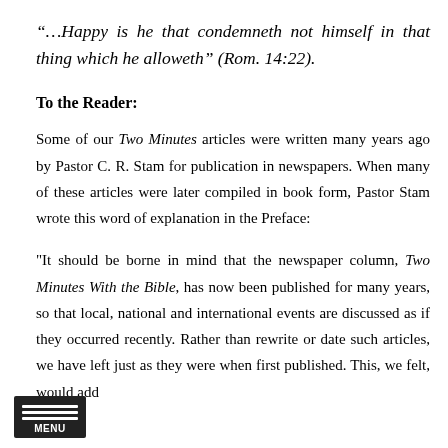“…Happy is he that condemneth not himself in that thing which he alloweth” (Rom. 14:22).
To the Reader:
Some of our Two Minutes articles were written many years ago by Pastor C. R. Stam for publication in newspapers. When many of these articles were later compiled in book form, Pastor Stam wrote this word of explanation in the Preface:
"It should be borne in mind that the newspaper column, Two Minutes With the Bible, has now been published for many years, so that local, national and international events are discussed as if they occurred recently. Rather than rewrite or date such articles, we have left just as they were when first published. This, we felt, would add